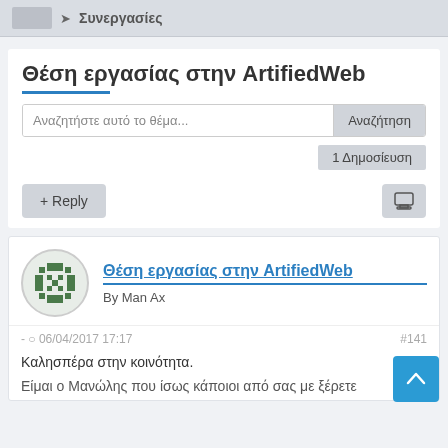Συνεργασίες
Θέση εργασίας στην ArtifiedWeb
Αναζητήστε αυτό το θέμα...
Αναζήτηση
1 Δημοσίευση
+ Reply
Θέση εργασίας στην ArtifiedWeb
By Man Ax
- 06/04/2017 17:17  #141
Καλησπέρα στην κοινότητα.
Είμαι ο Μανώλης που ίσως κάποιοι από σας με ξέρετε